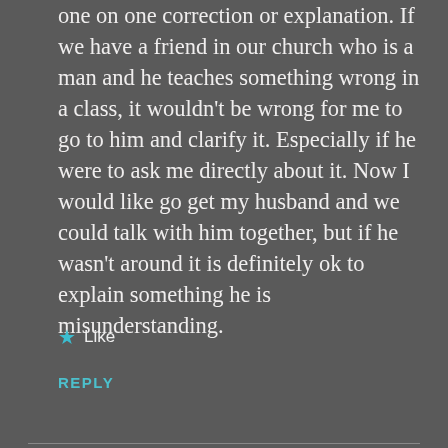one on one correction or explanation. If we have a friend in our church who is a man and he teaches something wrong in a class, it wouldn't be wrong for me to go to him and clarify it. Especially if he were to ask me directly about it. Now I would like go get my husband and we could talk with him together, but if he wasn't around it is definitely ok to explain something he is misunderstanding.
★ Like
REPLY